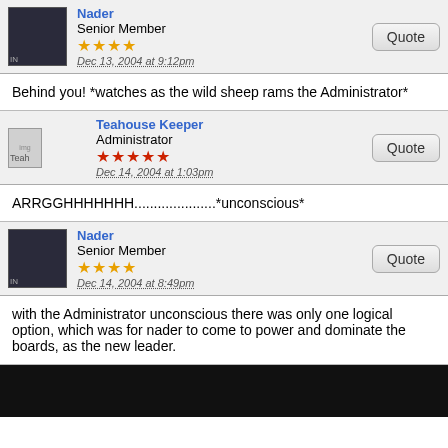Nader
Senior Member
Dec 13, 2004 at 9:12pm
Behind you! *watches as the wild sheep rams the Administrator*
Teahouse Keeper
Administrator
Dec 14, 2004 at 1:03pm
ARRGGHHHHHHH.....................*unconscious*
Nader
Senior Member
Dec 14, 2004 at 8:49pm
with the Administrator unconscious there was only one logical option, which was for nader to come to power and dominate the boards, as the new leader.